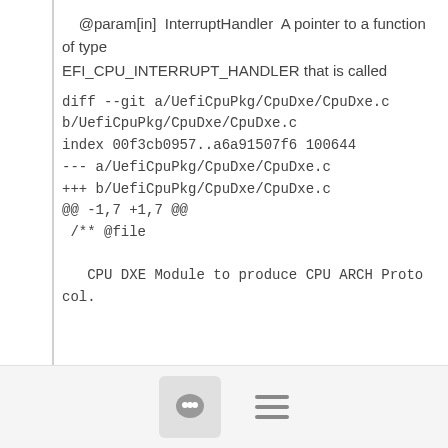@param[in]  InterruptHandler  A pointer to a function of type
EFI_CPU_INTERRUPT_HANDLER that is called
diff --git a/UefiCpuPkg/CpuDxe/CpuDxe.c b/UefiCpuPkg/CpuDxe/CpuDxe.c
index 00f3cb0957..a6a91507f6 100644
--- a/UefiCpuPkg/CpuDxe/CpuDxe.c
+++ b/UefiCpuPkg/CpuDxe/CpuDxe.c
@@ -1,7 +1,7 @@
 /** @file

    CPU DXE Module to produce CPU ARCH Protocol.



-  Copyright (c) 2008 - 2018, Intel Corporation. All rights
   reserved.<BR>